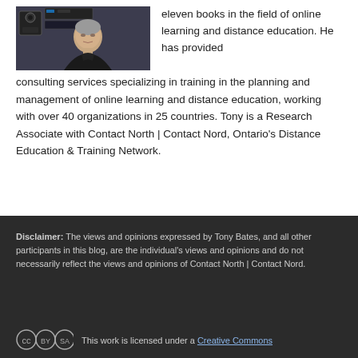[Figure (photo): Photo of Tony Bates, a man in a black turtleneck with audio/broadcast equipment visible in the background]
eleven books in the field of online learning and distance education. He has provided consulting services specializing in training in the planning and management of online learning and distance education, working with over 40 organizations in 25 countries. Tony is a Research Associate with Contact North | Contact Nord, Ontario's Distance Education & Training Network.
Disclaimer: The views and opinions expressed by Tony Bates, and all other participants in this blog, are the individual's views and opinions and do not necessarily reflect the views and opinions of Contact North | Contact Nord.
This work is licensed under a Creative Commons